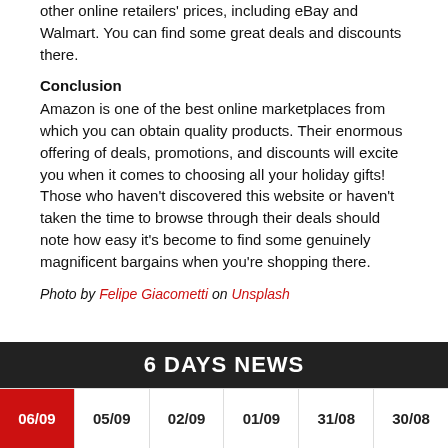other online retailers' prices, including eBay and Walmart. You can find some great deals and discounts there.
Conclusion
Amazon is one of the best online marketplaces from which you can obtain quality products. Their enormous offering of deals, promotions, and discounts will excite you when it comes to choosing all your holiday gifts! Those who haven't discovered this website or haven't taken the time to browse through their deals should note how easy it's become to find some genuinely magnificent bargains when you're shopping there.
Photo by Felipe Giacometti on Unsplash
6 DAYS NEWS
06/09 | 05/09 | 02/09 | 01/09 | 31/08 | 30/08